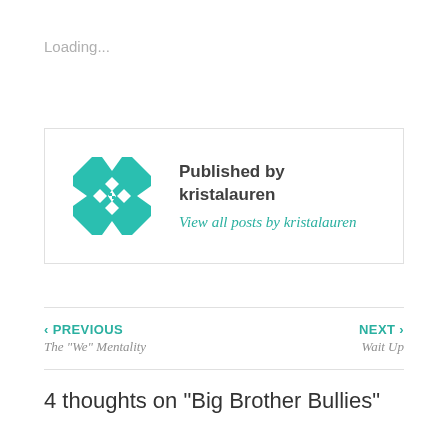Loading...
Published by kristalauren
View all posts by kristalauren
‹ PREVIOUS
The “We” Mentality
NEXT ›
Wait Up
4 thoughts on “Big Brother Bullies”